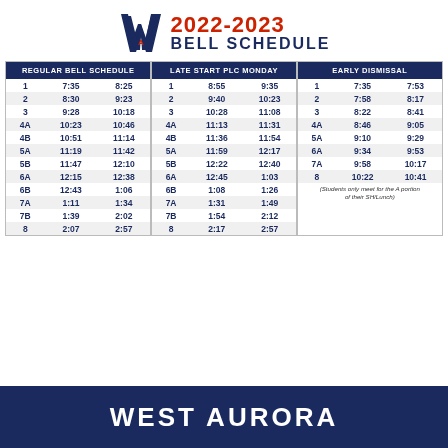2022-2023 BELL SCHEDULE
| REGULAR BELL SCHEDULE |  |  | LATE START PLC MONDAY |  |  | EARLY DISMISSAL |  |  |
| --- | --- | --- | --- | --- | --- | --- | --- | --- |
| 1 | 7:35 | 8:25 | 1 | 8:55 | 9:35 | 1 | 7:35 | 7:53 |
| 2 | 8:30 | 9:23 | 2 | 9:40 | 10:23 | 2 | 7:58 | 8:17 |
| 3 | 9:28 | 10:18 | 3 | 10:28 | 11:08 | 3 | 8:22 | 8:41 |
| 4A | 10:23 | 10:46 | 4A | 11:13 | 11:31 | 4A | 8:46 | 9:05 |
| 4B | 10:51 | 11:14 | 4B | 11:36 | 11:54 | 5A | 9:10 | 9:29 |
| 5A | 11:19 | 11:42 | 5A | 11:59 | 12:17 | 6A | 9:34 | 9:53 |
| 5B | 11:47 | 12:10 | 5B | 12:22 | 12:40 | 7A | 9:58 | 10:17 |
| 6A | 12:15 | 12:38 | 6A | 12:45 | 1:03 | 8 | 10:22 | 10:41 |
| 6B | 12:43 | 1:06 | 6B | 1:08 | 1:26 |  |  |  |
| 7A | 1:11 | 1:34 | 7A | 1:31 | 1:49 |  |  |  |
| 7B | 1:39 | 2:02 | 7B | 1:54 | 2:12 |  |  |  |
| 8 | 2:07 | 2:57 | 8 | 2:17 | 2:57 |  |  |  |
(Students only meet for the A portion of their SH/Lunch)
WEST AURORA